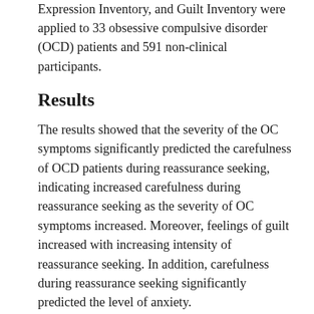Expression Inventory, and Guilt Inventory were applied to 33 obsessive compulsive disorder (OCD) patients and 591 non-clinical participants.
Results
The results showed that the severity of the OC symptoms significantly predicted the carefulness of OCD patients during reassurance seeking, indicating increased carefulness during reassurance seeking as the severity of OC symptoms increased. Moreover, feelings of guilt increased with increasing intensity of reassurance seeking. In addition, carefulness during reassurance seeking significantly predicted the level of anxiety. Responsibility/threat estimation, perfectionism/need for certainty, and importance/control of thoughts significantly predicted the OC symptoms. Moreover, the dysfunctional beliefs directly associated with an increased need to seek reassurance from different sources and seek